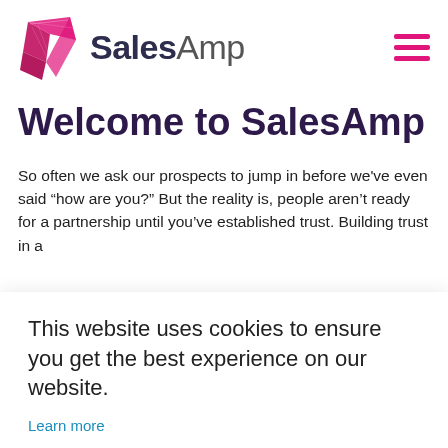SalesAmp
Welcome to SalesAmp
So often we ask our prospects to jump in before we've even said “how are you?” But the reality is, people aren’t ready for a partnership until you’ve established trust. Building trust in a
This website uses cookies to ensure you get the best experience on our website.
Learn more
Accept